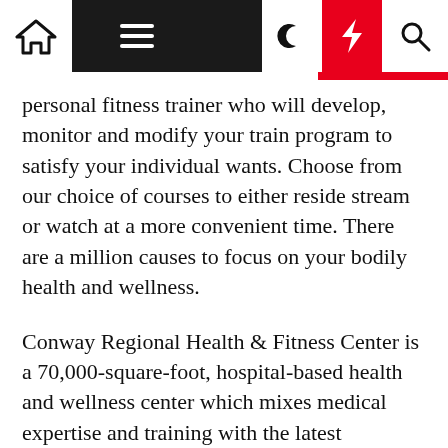[Navigation bar with home icon, hamburger menu, moon icon, lightning icon, search icon]
personal fitness trainer who will develop, monitor and modify your train program to satisfy your individual wants. Choose from our choice of courses to either reside stream or watch at a more convenient time. There are a million causes to focus on your bodily health and wellness.
Conway Regional Health & Fitness Center is a 70,000-square-foot, hospital-based health and wellness center which mixes medical expertise and training with the latest techniques in rehabilitation, fitness, and wellness. The center features a pool, large gymnasium, observe, aerobics center, and an expansive train area for cardio and weight training. Myzone, probably the most correct fitness tracker out there, lets you view your coronary heart rate and other metrics live on your smartphone which helps you to observe private efficiency and stay